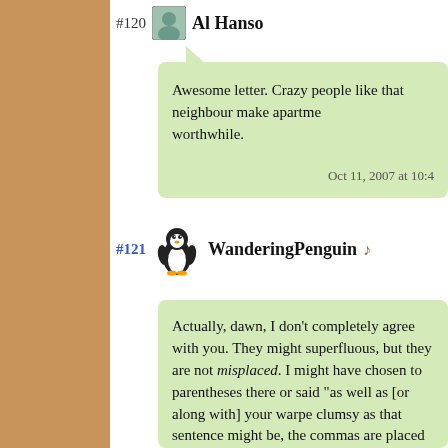#120 Al Hanso
Awesome letter. Crazy people like that neighbour make apartments worthwhile.
Oct 11, 2007 at 10:4
#121 WanderingPenguin
Actually, dawn, I don’t completely agree with you. They might superfluous, but they are not misplaced. I might have chosen to parentheses there or said “as well as [or along with] your warpe clumsy as that sentence might be, the commas are placed approp redundantaly); by that, I mean it’s not like CatLady used just on forgot to “close” her thought. Although I do wonder if the word comma should have been “is” in this case....hmm. I will agree t a hell of a lot better without them. But then, crazy is as crazy do the purple pen is still throwing me off. It’s almost glowing on th